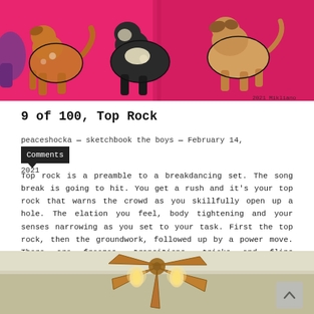[Figure (illustration): Colorful illustration on pink/magenta background showing stylized dogs or animals in bold outlines with brown, black, and cream colors. Appears to be a sketchbook spread across two pages.]
9 of 100, Top Rock
peaceshocka — sketchbook the boys — February 14, 2021
Top rock is a preamble to a breakdancing set. The song break is going to hit. You get a rush and it's your top rock that warns the crowd as you skillfully open up a hole. The elation you feel, body tightening and your senses narrowing as you set to your task. First the top rock, then the groundwork, followed up by a power move. There are freezes, transitions, tricks and flips sprinkled throughout a routine.Thats what a break dancer does.
[Figure (photo): Photo of a ceiling fan with copper/bronze colored blades, lights attached, mounted on a white ceiling with visible crown molding.]